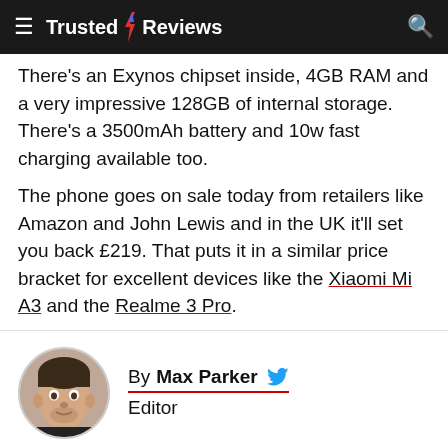Trusted Reviews
There's an Exynos chipset inside, 4GB RAM and a very impressive 128GB of internal storage. There's a 3500mAh battery and 10w fast charging available too.
The phone goes on sale today from retailers like Amazon and John Lewis and in the UK it'll set you back £219. That puts it in a similar price bracket for excellent devices like the Xiaomi Mi A3 and the Realme 3 Pro.
[Figure (photo): Author headshot of Max Parker]
By Max Parker Editor
Max Parker is the Deputy Editor for Trusted Reviews and Recombu. He also directly manages Trusted Reviews' mobile, wearables and tablet sections. Max joined Trusted Reviews as a features writer in 201…